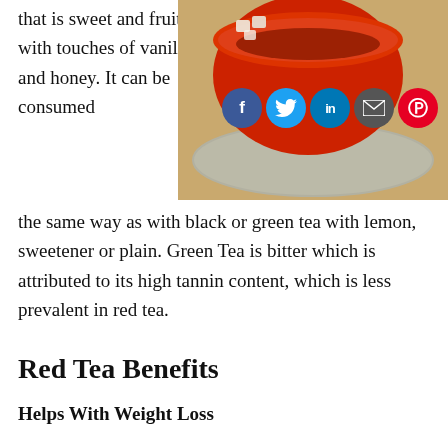that is sweet and fruity with touches of vanilla and honey. It can be consumed the same way as with black or green tea with lemon, sweetener or plain. Green Tea is bitter which is attributed to its high tannin content, which is less prevalent in red tea.
[Figure (photo): Red tea cup on a saucer with social media sharing icons (Facebook, Twitter, LinkedIn, Email, Pinterest) overlaid on the image]
Red Tea Benefits
Helps With Weight Loss